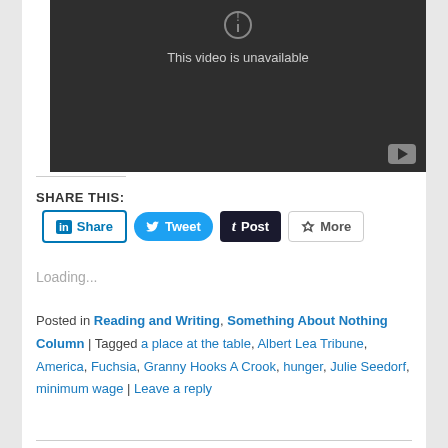[Figure (screenshot): Dark video player showing 'This video is unavailable' message with a circle-exclamation icon and YouTube logo in bottom right corner]
SHARE THIS:
[Figure (other): Social sharing buttons: LinkedIn Share, Twitter Tweet, Tumblr Post, More]
Loading...
Posted in Reading and Writing, Something About Nothing Column | Tagged a place at the table, Albert Lea Tribune, America, Fuchsia, Granny Hooks A Crook, hunger, Julie Seedorf, minimum wage | Leave a reply